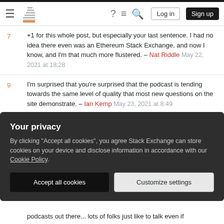Stack Exchange navigation header with hamburger menu, logo, help, chat, search icons, Log in and Sign up buttons
+1 for this whole post, but especially your last sentence. I had no idea there even was an Ethereum Stack Exchange, and now I know, and I'm that much more flustered. – Nat Riddle May 22, 2021 at 18:28
9 I'm surprised that you're surprised that the podcast is tending towards the same level of quality that most new questions on the site demonstrate. – Ian Kemp May 23, 2021 at 8:49
32 Wait, someone actually listens to that podcast? – user3840170 May 23, 2021 at 12:46
5 I would love more software-related blockchain talk. Smart Contracts for example, but uh, those are not so
Your privacy
By clicking "Accept all cookies", you agree Stack Exchange can store cookies on your device and disclose information in accordance with our Cookie Policy.
Accept all cookies  Customize settings
podcasts out there... lots of folks just like to talk even if